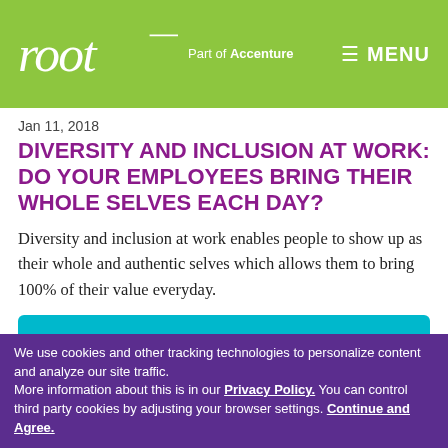root Part of Accenture  MENU
Jan 11, 2018
DIVERSITY AND INCLUSION AT WORK: DO YOUR EMPLOYEES BRING THEIR WHOLE SELVES EACH DAY?
Diversity and inclusion at work enables people to show up as their whole and authentic selves which allows them to bring 100% of their value everyday.
Read this post
We use cookies and other tracking technologies to personalize content and analyze our site traffic. More information about this is in our Privacy Policy. You can control third party cookies by adjusting your browser settings. Continue and Agree.